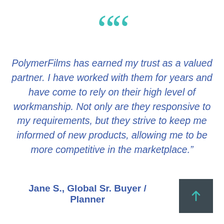[Figure (illustration): Large teal open quotation mark decorative element]
PolymerFilms has earned my trust as a valued partner. I have worked with them for years and have come to rely on their high level of workmanship. Not only are they responsive to my requirements, but they strive to keep me informed of new products, allowing me to be more competitive in the marketplace."
Jane S., Global Sr. Buyer / Planner